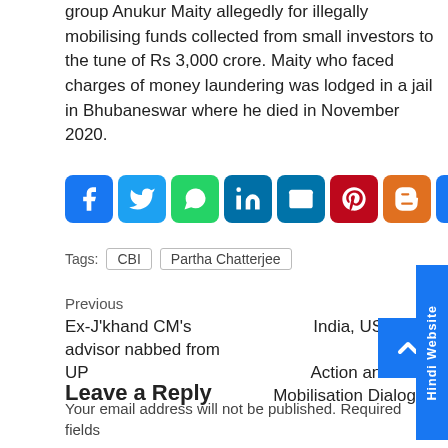group Anukur Maity allegedly for illegally mobilising funds collected from small investors to the tune of Rs 3,000 crore. Maity who faced charges of money laundering was lodged in a jail in Bhubaneswar where he died in November 2020.
[Figure (infographic): Social media share buttons: Facebook, Twitter, WhatsApp, LinkedIn, Email, Pinterest, Blogger, More]
Tags: CBI  Partha Chatterjee
Previous
Ex-J'khand CM's advisor nabbed from UP
Next
India, US launch 'Climate Action and Finance Mobilisation Dialogue'
Leave a Reply
Your email address will not be published. Required fields are marked *